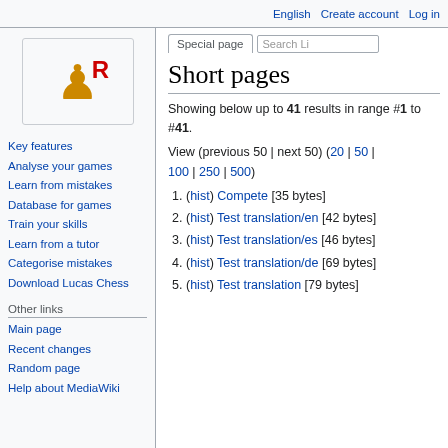English  Create account  Log in
[Figure (logo): Lucas Chess logo: wooden chess pawn with a red R letter overlay]
Key features
Analyse your games
Learn from mistakes
Database for games
Train your skills
Learn from a tutor
Categorise mistakes
Download Lucas Chess
Other links
Main page
Recent changes
Random page
Help about MediaWiki
Short pages
Showing below up to 41 results in range #1 to #41.
View (previous 50 | next 50) (20 | 50 | 100 | 250 | 500)
(hist) Compete [35 bytes]
(hist) Test translation/en [42 bytes]
(hist) Test translation/es [46 bytes]
(hist) Test translation/de [69 bytes]
(hist) Test translation [79 bytes]